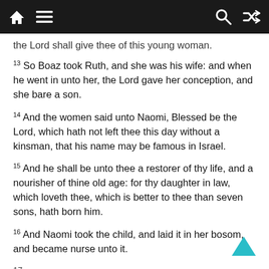Navigation bar with home, menu, search, and shuffle icons
the Lord shall give thee of this young woman.
13 So Boaz took Ruth, and she was his wife: and when he went in unto her, the Lord gave her conception, and she bare a son.
14 And the women said unto Naomi, Blessed be the Lord, which hath not left thee this day without a kinsman, that his name may be famous in Israel.
15 And he shall be unto thee a restorer of thy life, and a nourisher of thine old age: for thy daughter in law, which loveth thee, which is better to thee than seven sons, hath born him.
16 And Naomi took the child, and laid it in her bosom, and became nurse unto it.
17 And the...